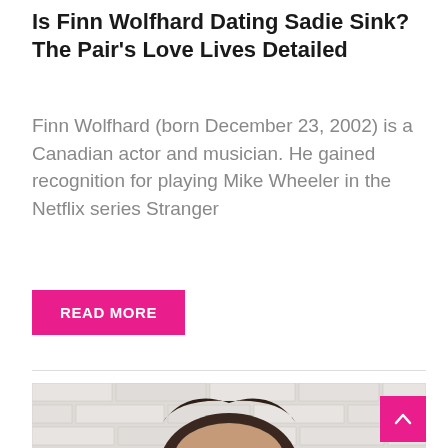Is Finn Wolfhard Dating Sadie Sink? The Pair's Love Lives Detailed
Finn Wolfhard (born December 23, 2002) is a Canadian actor and musician. He gained recognition for playing Mike Wheeler in the Netflix series Stranger
[Figure (other): Pink 'READ MORE' button]
[Figure (photo): Photo of a young dark-haired man leaning against a white brick wall, partially cropped showing head and upper face area]